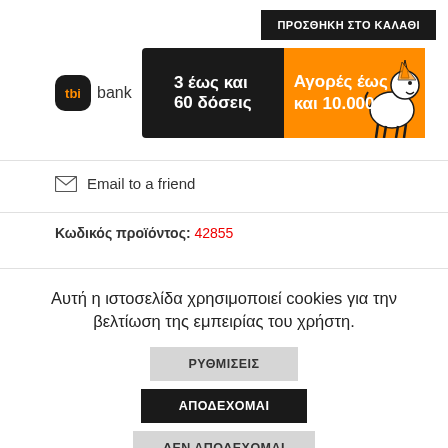ΠΡΟΣΘΗΚΗ ΣΤΟ ΚΑΛΑΘΙ
[Figure (infographic): tbi bank banner showing '3 έως και 60 δόσεις' in black section and 'Αγορές έως και 10.000 €' in orange section with unicorn illustration]
Email to a friend
Κωδικός προϊόντος: 42855
Αυτή η ιστοσελίδα χρησιμοποιεί cookies για την βελτίωση της εμπειρίας του χρήστη.
ΡΥΘΜΙΣΕΙΣ
ΑΠΟΔΕΧΟΜΑΙ
ΔΕΝ ΑΠΟΔΕΧΟΜΑΙ